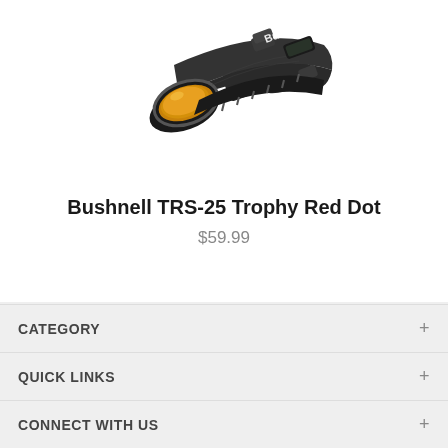[Figure (photo): Bushnell TRS-25 Trophy Red Dot scope — black cylindrical rifle scope with orange-tinted lens, mounted on a rail, viewed from the front-left angle. Bushnell branding visible on top.]
Bushnell TRS-25 Trophy Red Dot
$59.99
CATEGORY +
QUICK LINKS +
CONNECT WITH US +